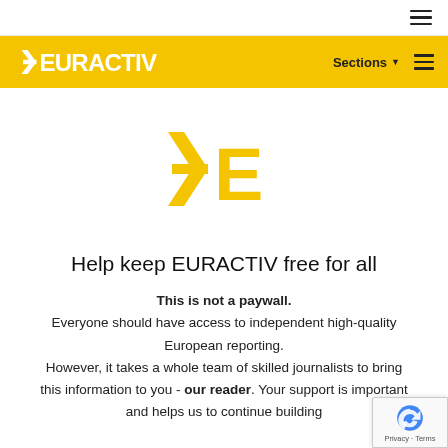☰ (hamburger menu icon)
[Figure (logo): EURACTIV logo in white text on yellow background with navigation: Sections menu and hamburger icon]
[Figure (logo): EURACTIV large yellow logo mark (YE symbol) centered on page]
Help keep EURACTIV free for all
This is not a paywall. Everyone should have access to independent high-quality European reporting. However, it takes a whole team of skilled journalists to bring this information to you - our reader. Your support is important and helps us to continue building